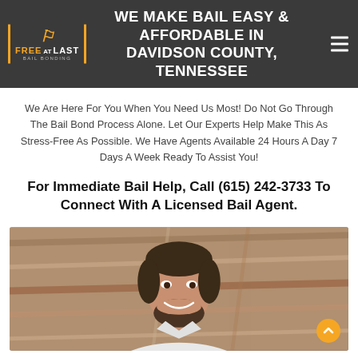WE MAKE BAIL EASY & AFFORDABLE IN DAVIDSON COUNTY, TENNESSEE
We Are Here For You When You Need Us Most! Do Not Go Through The Bail Bond Process Alone. Let Our Experts Help Make This As Stress-Free As Possible. We Have Agents Available 24 Hours A Day 7 Days A Week Ready To Assist You!
For Immediate Bail Help, Call (615) 242-3733 To Connect With A Licensed Bail Agent.
[Figure (photo): Photo of a smiling man with beard wearing a white shirt, in front of a wooden background]